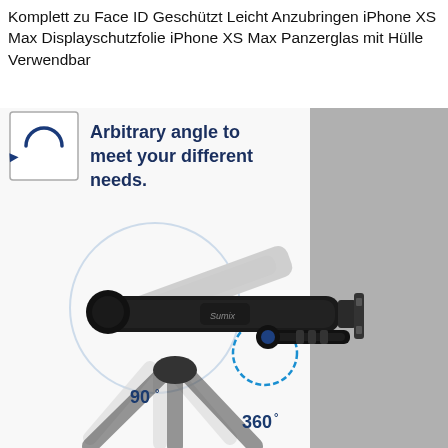Komplett zu Face ID Geschützt Leicht Anzubringen iPhone XS Max Displayschutzfolie iPhone XS Max Panzerglas mit Hülle Verwendbar
[Figure (photo): Product infographic showing a black wall-mounted camera gimbal/stabilizer arm (branded 'Sumix') mounted on a gray wall. A blue circular arrow icon is shown in a small box on the left. Text reads 'Arbitrary angle to meet your different needs.' Angle indicators show 90° and 360° rotation capabilities. The device is shown at multiple overlapping angles to demonstrate range of motion.]